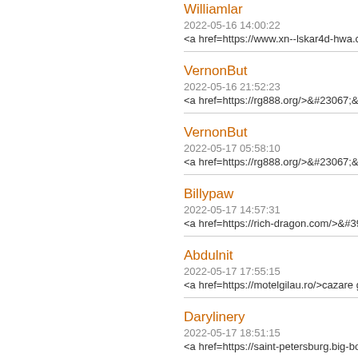Williamlar
2022-05-16 14:00:22
<a href=https://www.xn--lskar4d-hwa.com
VernonBut
2022-05-16 21:52:23
<a href=https://rg888.org/>&#23067;&#27
VernonBut
2022-05-17 05:58:10
<a href=https://rg888.org/>&#23067;&#27
Billypaw
2022-05-17 14:57:31
<a href=https://rich-dragon.com/>&#3976-
Abdulnit
2022-05-17 17:55:15
<a href=https://motelgilau.ro/>cazare gilau
Darylinery
2022-05-17 18:51:15
<a href=https://saint-petersburg.big-book-
Darylinery
2022-05-17 19:33:52